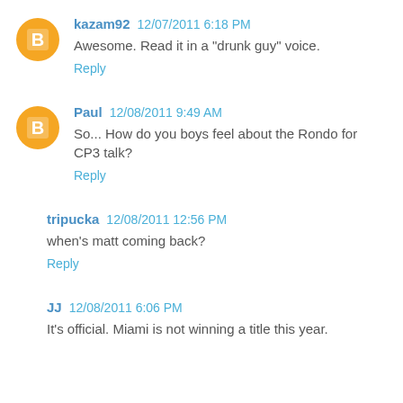kazam92 12/07/2011 6:18 PM
Awesome. Read it in a "drunk guy" voice.
Reply
Paul 12/08/2011 9:49 AM
So... How do you boys feel about the Rondo for CP3 talk?
Reply
tripucka 12/08/2011 12:56 PM
when's matt coming back?
Reply
JJ 12/08/2011 6:06 PM
It's official. Miami is not winning a title this year.